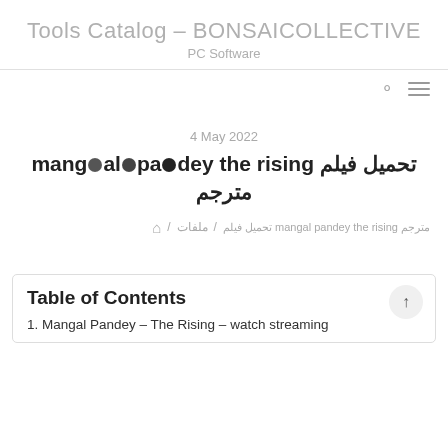Tools Catalog – BONSAICOLLECTIVE
PC Software
4 May 2022
تحميل فيلم mangal pandey the rising مترجم
🏠 / ملفات / مترجم mangal pandey the rising تحميل فيلم
Table of Contents
1. Mangal Pandey – The Rising – watch streaming